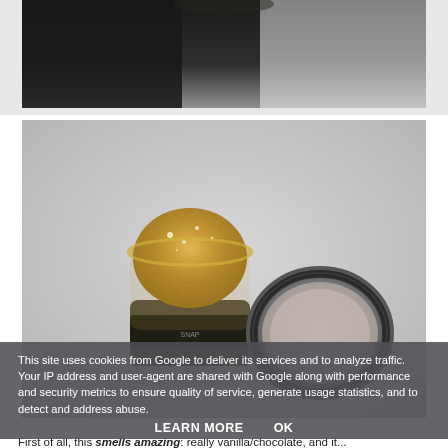[Figure (photo): Top portion of a photo showing a dark background, partially cropped at the top of the page.]
[Figure (photo): An open small glass jar with golden/amber crystalline substance inside (possibly sugar scrub or cannabis concentrate), with its black screw cap lying beside it on a light grey surface.]
This site uses cookies from Google to deliver its services and to analyze traffic. Your IP address and user-agent are shared with Google along with performance and security metrics to ensure quality of service, generate usage statistics, and to detect and address abuse.
LEARN MORE    OK
First of all, this smells amazing: really vanilla/chocolate, and it...